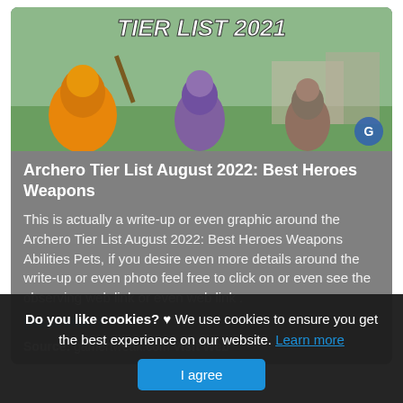[Figure (screenshot): Game screenshot showing TIER LIST 2021 title text with fantasy game characters on a grassy background]
Archero Tier List August 2022: Best Heroes Weapons
This is actually a write-up or even graphic around the Archero Tier List August 2022: Best Heroes Weapons Abilities Pets, if you desire even more details around the write-up or even photo feel free to click on or even see the observing web link or even web link .
(Read More)
Source: gamertweak.com Visit Web
[Figure (screenshot): Dark/black image strip at bottom of page, partially visible]
Do you like cookies? ♥ We use cookies to ensure you get the best experience on our website. Learn more
I agree